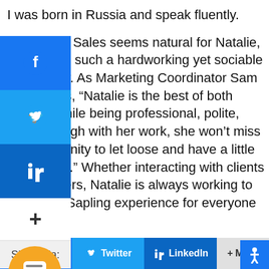I was born in Russia and speak fluently.
Working in Sales seems natural for Natalie, as she has such a hardworking yet sociable personality. As Marketing Coordinator Sam Smith says, “Natalie is the best of both worlds. While being professional, polite, and thorough with her work, she won’t miss an opportunity to let loose and have a little fun as well.” Whether interacting with clients or coworkers, Natalie is always working to better the Sapling experience for everyone involved.
Keep it up, Natalie! Be on the lookout for another Sapling personality in our next Sapling Spotlight blog.
Share via:
Facebook   Twitter   LinkedIn   + More
This site uses cookies to improve your experience. We’ll assume you’re ok with this, but you can opt-out if you wish.   Cookie settings   ACCEPT